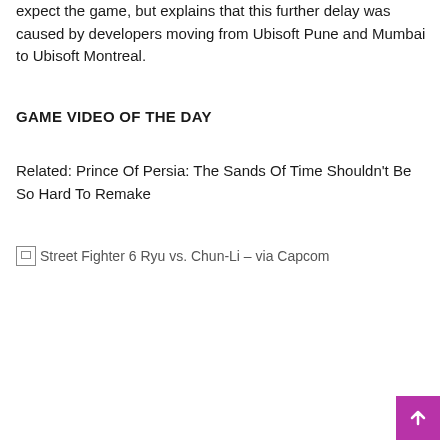expect the game, but explains that this further delay was caused by developers moving from Ubisoft Pune and Mumbai to Ubisoft Montreal.
GAME VIDEO OF THE DAY
Related: Prince Of Persia: The Sands Of Time Shouldn't Be So Hard To Remake
[Figure (photo): Broken image placeholder for Street Fighter 6 Ryu vs. Chun-Li – via Capcom]